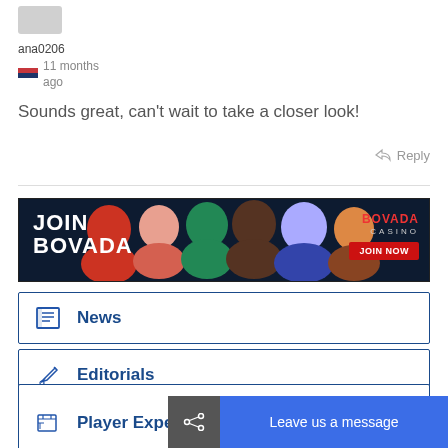ana0206
11 months ago
Sounds great, can't wait to take a closer look!
Reply
[Figure (photo): JOIN BOVADA casino advertisement banner with group of smiling people and JOIN NOW button]
News
Editorials
Player Experiences
Leave us a message